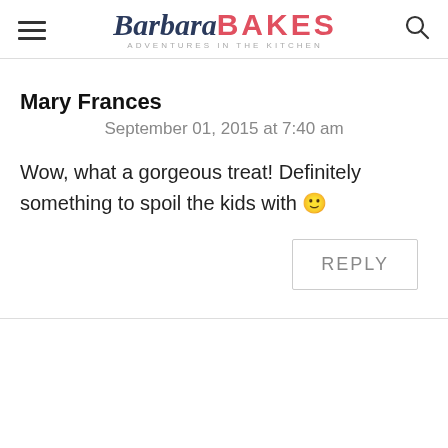Barbara BAKES — ADVENTURES in the KITCHEN
Mary Frances
September 01, 2015 at 7:40 am
Wow, what a gorgeous treat! Definitely something to spoil the kids with 🙂
REPLY